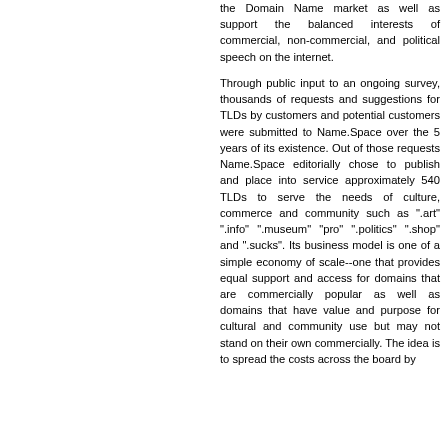the Domain Name market as well as support the balanced interests of commercial, non-commercial, and political speech on the internet.
Through public input to an ongoing survey, thousands of requests and suggestions for TLDs by customers and potential customers were submitted to Name.Space over the 5 years of its existence. Out of those requests Name.Space editorially chose to publish and place into service approximately 540 TLDs to serve the needs of culture, commerce and community such as ".art" ".info" ".museum" "pro" ".politics" ".shop" and ".sucks". Its business model is one of a simple economy of scale--one that provides equal support and access for domains that are commercially popular as well as domains that have value and purpose for cultural and community use but may not stand on their own commercially. The idea is to spread the costs across the board by